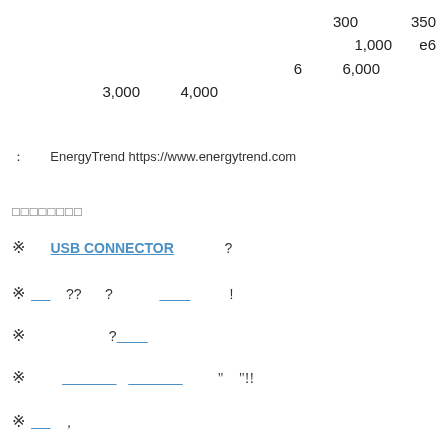300   350   1,000   e6   6   6,000   3,000  4,000
: EnergyTrend https://www.energytrend.com
□□□□□□□□
※  USB CONNECTOR  ?
※___  ??  ?  ___  !
※  ?___
※  ___  ___  "  "!!
※___  ,